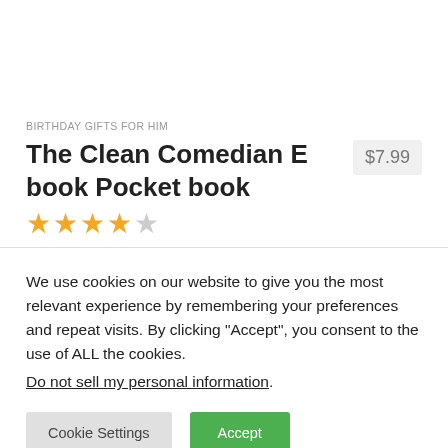BIRTHDAY GIFTS FOR HIM
The Clean Comedian E book Pocket book  $7.99
[Figure (other): Star rating: 4 out of 5 stars (4 filled orange stars, 1 empty/gray star)]
We use cookies on our website to give you the most relevant experience by remembering your preferences and repeat visits. By clicking “Accept”, you consent to the use of ALL the cookies.
Do not sell my personal information.
Cookie Settings
Accept